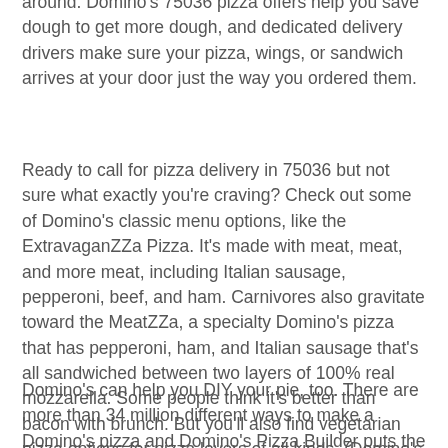around. Domino's 75036 pizza offers help you save dough to get more dough, and dedicated delivery drivers make sure your pizza, wings, or sandwich arrives at your door just the way you ordered them.
Ready to call for pizza delivery in 75036 but not sure what exactly you're craving? Check out some of Domino's classic menu options, like the ExtravaganZZa Pizza. It's made with meat, meat, and more meat, including Italian sausage, pepperoni, beef, and ham. Carnivores also gravitate toward the MeatZZa, a specialty Domino's pizza that has pepperoni, ham, and Italian sausage that's all sandwiched between two layers of 100% real mozzarella. Some people think it's better than bacon with brunch. But you'll also find vegetarian pizza options for pizza lovers of all kinds. (Domino's passion for veggies can't be squashed!) The Pacific Veggie Pizza, for example, overflows with roasted red peppers, fresh baby spinach, onions, black olives, tomatoes, and mushrooms.
Domino's can help you DIY your pie, too. There are more than 34 million different ways to make a Domino's pizza and Domino's Pizza Builder puts the power of pizza in your hands! Get started on your made-to-order pizza by picking your go-to crust: large-